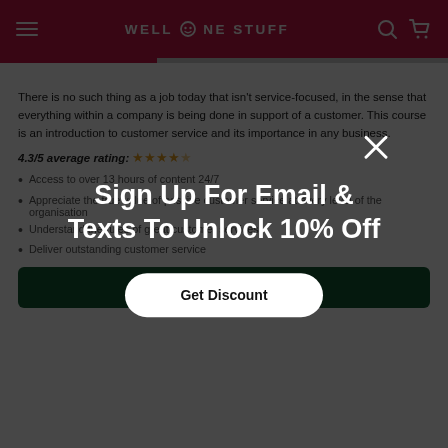WELL DONE STUFF (logo/navigation header)
There is no such thing as a job today that isn't service-focused, in the sense that everything within a company is being done in support of a customer. This course is an introduction to customer service and its importance in any business.
4.3/5 average rating: ★★★★☆
Access to over 13 hours of content 24/7
Appreciate the true value of positive customer service at every level of the organisation
Understand the rules of great customer services
Deliver outstanding customer service
ADD TO CART (£34.00)
Sign Up For Email & Texts To Unlock 10% Off
Get Discount